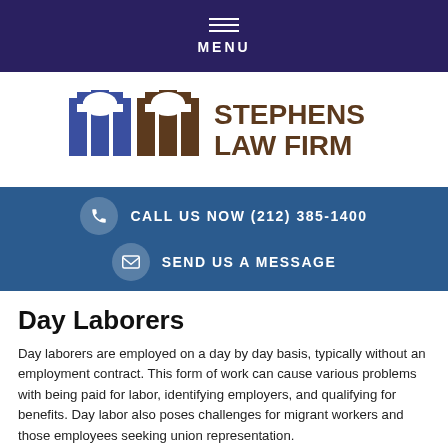MENU
[Figure (logo): Stephens Law Firm logo with stylized blue and brown pillars icon and text 'STEPHENS LAW FIRM']
CALL US NOW (212) 385-1400
SEND US A MESSAGE
Day Laborers
Day laborers are employed on a day by day basis, typically without an employment contract. This form of work can cause various problems with being paid for labor, identifying employers, and qualifying for benefits. Day labor also poses challenges for migrant workers and those employees seeking union representation.